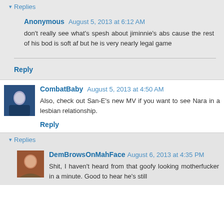▾ Replies
Anonymous August 5, 2013 at 6:12 AM
don't really see what's spesh about jiminnie's abs cause the rest of his bod is soft af but he is very nearly legal game
Reply
CombatBaby August 5, 2013 at 4:50 AM
Also, check out San-E's new MV if you want to see Nara in a lesbian relationship.
Reply
▾ Replies
DemBrowsOnMahFace August 6, 2013 at 4:35 PM
Shit, I haven't heard from that goofy looking motherfucker in a minute. Good to hear he's still